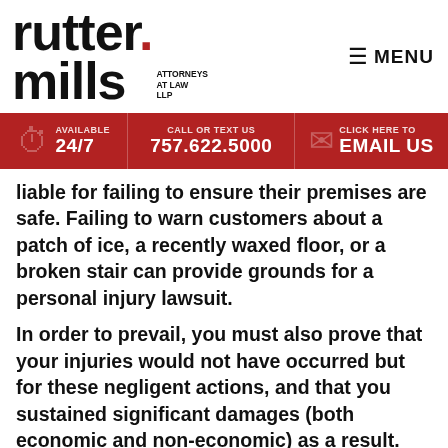[Figure (logo): Rutter Mills Attorneys at Law LLP logo — bold black text with a red dot]
MENU
AVAILABLE 24/7 | CALL OR TEXT US 757.622.5000 | CLICK HERE TO EMAIL US
liable for failing to ensure their premises are safe. Failing to warn customers about a patch of ice, a recently waxed floor, or a broken stair can provide grounds for a personal injury lawsuit.
In order to prevail, you must also prove that your injuries would not have occurred but for these negligent actions, and that you sustained significant damages (both economic and non-economic) as a result.